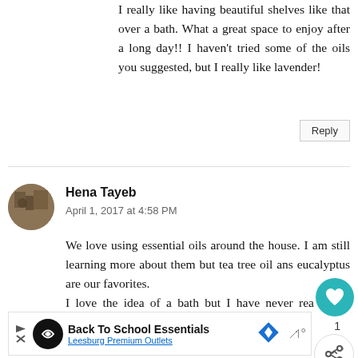I really like having beautiful shelves like that over a bath. What a great space to enjoy after a long day!! I haven't tried some of the oils you suggested, but I really like lavender!
Reply
Hena Tayeb
April 1, 2017 at 4:58 PM
We love using essential oils around the house. I am still learning more about them but tea tree oil ans eucalyptus are our favorites.
I love the idea of a bath but I have never rea enjoyed taking them
[Figure (infographic): Ad banner for Back To School Essentials - Leesburg Premium Outlets with play button, circular logo, diamond navigation icon, and wavy symbol]
Back To School Essentials
Leesburg Premium Outlets